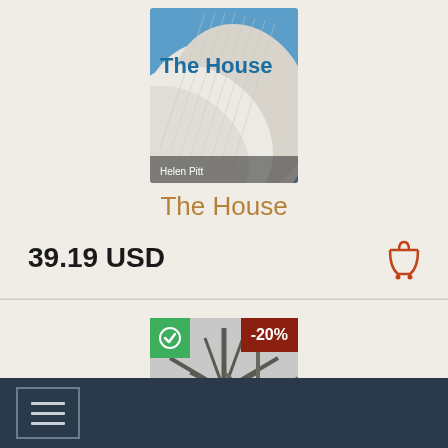[Figure (photo): Book cover for 'The House' by Helen Pitt, showing Sydney Opera House white shell structures against a blue sky, with title text in blue and author name in white]
The House
39.19 USD
[Figure (photo): Product image showing spiky agave or similar plant sculpture against a grey sky, with a green checkmark badge overlay on top-left and a dark red -20% discount badge on top-right]